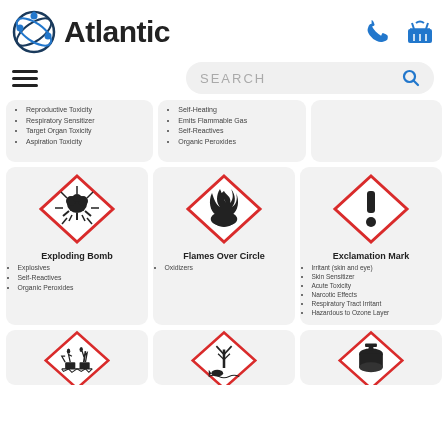[Figure (logo): Atlantic company logo with circular orbit icon and bold 'Atlantic' text]
[Figure (infographic): Navigation bar with hamburger menu icon and search box]
Reproductive Toxicity
Respiratory Sensitizer
Target Organ Toxicity
Aspiration Toxicity
Self-Heating
Emits Flammable Gas
Self-Reactives
Organic Peroxides
[Figure (illustration): GHS Exploding Bomb hazard pictogram - red diamond with explosion symbol]
Exploding Bomb
Explosives
Self-Reactives
Organic Peroxides
[Figure (illustration): GHS Flames Over Circle oxidizer hazard pictogram - red diamond with flame over circle]
Flames Over Circle
Oxidizers
[Figure (illustration): GHS Exclamation Mark hazard pictogram - red diamond with exclamation mark]
Exclamation Mark
Irritant (skin and eye)
Skin Sensitizer
Acute Toxicity
Narcotic Effects
Respiratory Tract Irritant
Hazardous to Ozone Layer
[Figure (illustration): GHS corrosion hazard pictogram partially visible - red diamond with corrosion symbol]
[Figure (illustration): GHS environmental hazard pictogram partially visible - red diamond with dead tree symbol]
[Figure (illustration): GHS compressed gas pictogram partially visible - red diamond with cylinder symbol]